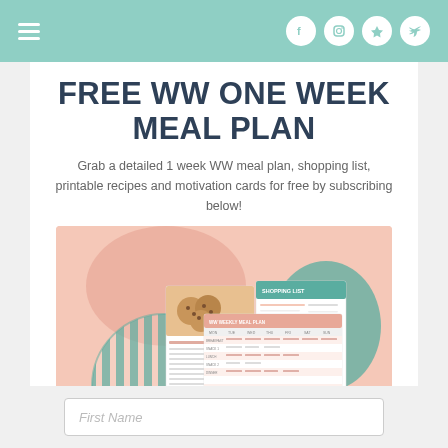Navigation bar with hamburger menu and social icons (Facebook, Instagram, Pinterest, Twitter)
FREE WW ONE WEEK MEAL PLAN
Grab a detailed 1 week WW meal plan, shopping list, printable recipes and motivation cards for free by subscribing below!
[Figure (illustration): Illustrated promotional image showing a free WW one week meal plan bundle: a recipe card with cookies photo, a shopping list document, and a weekly meal plan chart, arranged on a peach/pink background with teal striped circle decorations and a teal blob shape.]
First Name